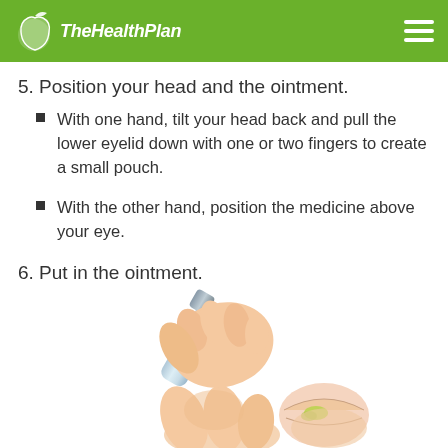The Health Plan
5. Position your head and the ointment.
With one hand, tilt your head back and pull the lower eyelid down with one or two fingers to create a small pouch.
With the other hand, position the medicine above your eye.
6. Put in the ointment.
[Figure (illustration): Medical illustration showing a hand squeezing an ointment tube near a lower eyelid, with green ointment being applied.]